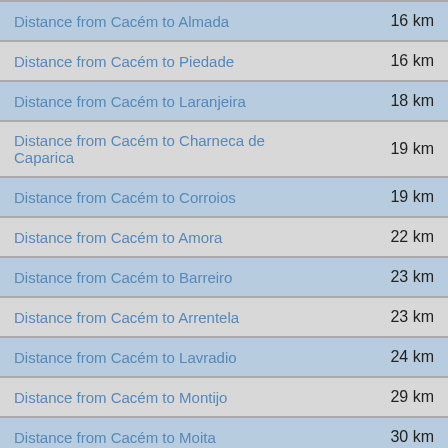| Route | Distance |
| --- | --- |
| Distance from Cacém to Almada | 16 km |
| Distance from Cacém to Piedade | 16 km |
| Distance from Cacém to Laranjeira | 18 km |
| Distance from Cacém to Charneca de Caparica | 19 km |
| Distance from Cacém to Corroios | 19 km |
| Distance from Cacém to Amora | 22 km |
| Distance from Cacém to Barreiro | 23 km |
| Distance from Cacém to Arrentela | 23 km |
| Distance from Cacém to Lavradio | 24 km |
| Distance from Cacém to Montijo | 29 km |
| Distance from Cacém to Moita | 30 km |